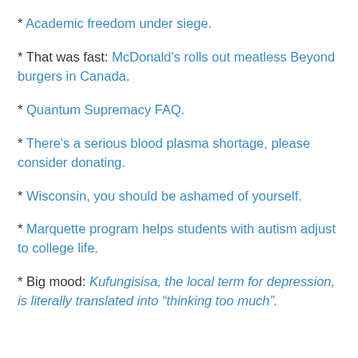* Academic freedom under siege.
* That was fast: McDonald’s rolls out meatless Beyond burgers in Canada.
* Quantum Supremacy FAQ.
* There’s a serious blood plasma shortage, please consider donating.
* Wisconsin, you should be ashamed of yourself.
* Marquette program helps students with autism adjust to college life.
* Big mood: Kufungisisa, the local term for depression, is literally translated into “thinking too much”.